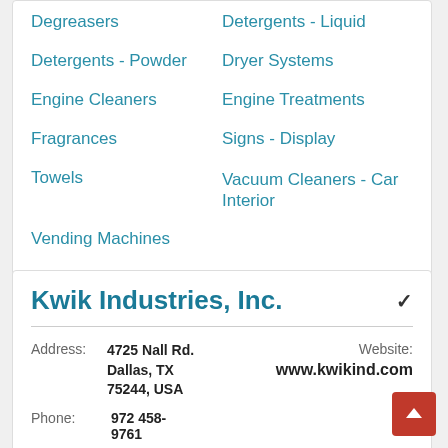Degreasers
Detergents - Liquid
Detergents - Powder
Dryer Systems
Engine Cleaners
Engine Treatments
Fragrances
Signs - Display
Towels
Vacuum Cleaners - Car Interior
Vending Machines
Kwik Industries, Inc.
Address: 4725 Nall Rd. Dallas, TX 75244, USA
Website: www.kwikind.com
Phone: 972 458-9761